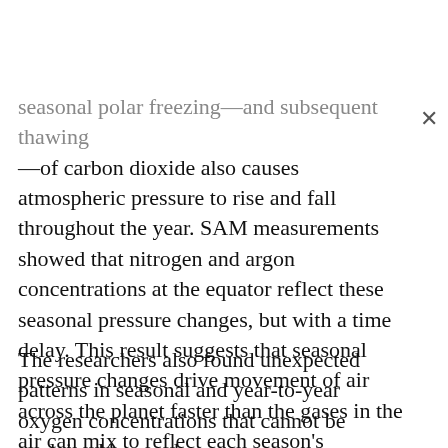seasonal polar freezing—and subsequent thawing—of carbon dioxide also causes atmospheric pressure to rise and fall throughout the year. SAM measurements showed that nitrogen and argon concentrations at the equator reflect these seasonal pressure changes, but with a time delay. This result suggests that seasonal pressure changes drive movement of air across the planet faster than the gases in the air can mix to reflect each season's composition.
The researchers also found unexpected patterns in seasonal and year-to-year oxygen concentrations that cannot be explained by any known